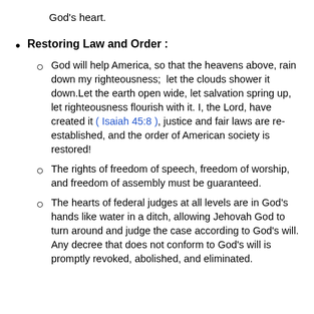God's heart.
Restoring Law and Order :
God will help America, so that the heavens above, rain down my righteousness;  let the clouds shower it down.Let the earth open wide, let salvation spring up, let righteousness flourish with it. I, the Lord, have created it ( Isaiah 45:8 ), justice and fair laws are re-established, and the order of American society is restored!
The rights of freedom of speech, freedom of worship, and freedom of assembly must be guaranteed.
The hearts of federal judges at all levels are in God's hands like water in a ditch, allowing Jehovah God to turn around and judge the case according to God's will. Any decree that does not conform to God's will is promptly revoked, abolished, and eliminated.